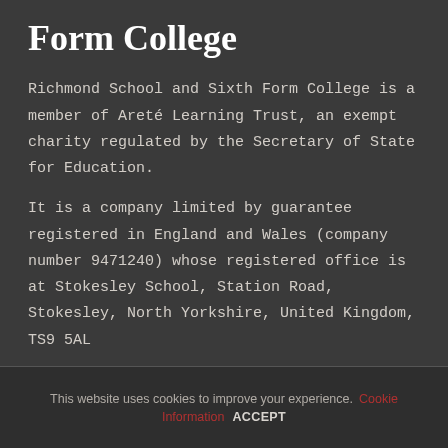Form College
Richmond School and Sixth Form College is a member of Areté Learning Trust, an exempt charity regulated by the Secretary of State for Education.
It is a company limited by guarantee registered in England and Wales (company number 9471240) whose registered office is at Stokesley School, Station Road, Stokesley, North Yorkshire, United Kingdom, TS9 5AL
This website uses cookies to improve your experience. Cookie Information ACCEPT